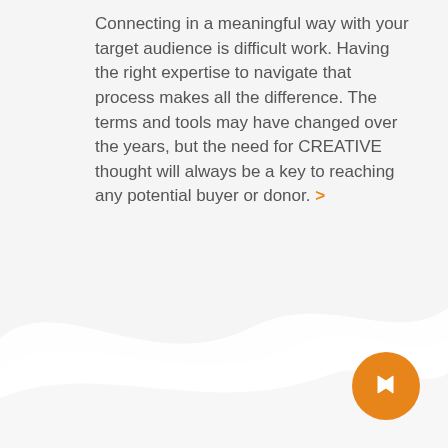Connecting in a meaningful way with your target audience is difficult work. Having the right expertise to navigate that process makes all the difference. The terms and tools may have changed over the years, but the need for CREATIVE thought will always be a key to reaching any potential buyer or donor. >
[Figure (illustration): White wave/curve decorative background shape at the bottom of the page, with an orange circular navigation button containing a white flag/marker icon in the bottom-right corner.]